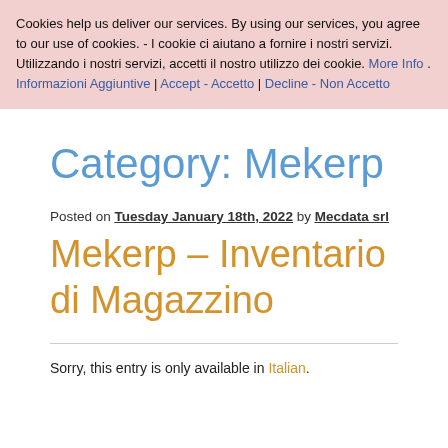Cookies help us deliver our services. By using our services, you agree to our use of cookies. - I cookie ci aiutano a fornire i nostri servizi. Utilizzando i nostri servizi, accetti il nostro utilizzo dei cookie. More Info . Informazioni Aggiuntive | Accept - Accetto | Decline - Non Accetto
Category: Mekerp
Posted on Tuesday January 18th, 2022 by Mecdata srl
Mekerp – Inventario di Magazzino
Sorry, this entry is only available in Italian.